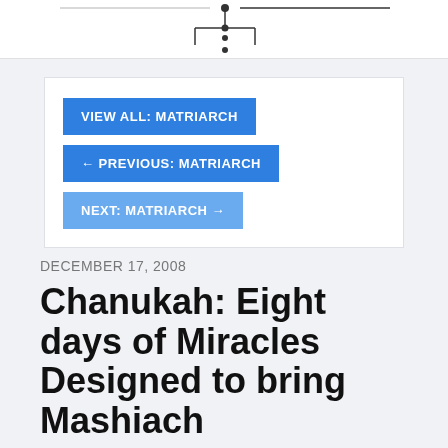[Figure (network-graph): Partial network/tree diagram with nodes connected by lines, visible at the top of the page]
VIEW ALL: MATRIARCH
← PREVIOUS: MATRIARCH
NEXT: MATRIARCH →
DECEMBER 17, 2008
Chanukah: Eight days of Miracles Designed to bring Mashiach